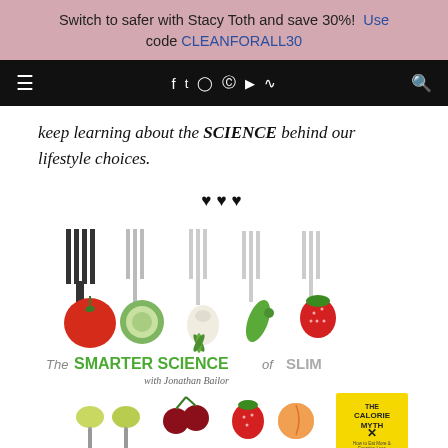Switch to safer with Stacy Toth and save 30%! Use code CLEANFORALL30
[Figure (screenshot): Black navigation bar with hamburger menu icon on left, social media icons (Facebook, Twitter, Instagram, Pinterest, YouTube, RSS) in center, and search icon on right]
keep learning about the SCIENCE behind our lifestyle choices.
♥ ♥ ♥
[Figure (photo): Book cover of 'The Smarter Science of Slim with Jonathan Bailor' showing forks with vegetables and fruits (tomato, cucumber, fennel, pea pod, strawberry, cherry, strawberry, peach) arranged decoratively, alongside 'The Calorie Myth' book cover in yellow]